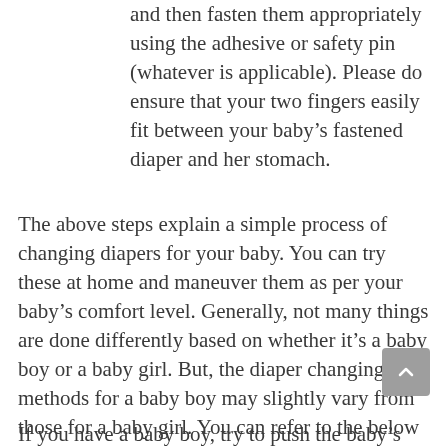and then fasten them appropriately using the adhesive or safety pin (whatever is applicable). Please do ensure that your two fingers easily fit between your baby's fastened diaper and her stomach.
The above steps explain a simple process of changing diapers for your baby. You can try these at home and maneuver them as per your baby's comfort level. Generally, not many things are done differently based on whether it's a baby boy or a baby girl. But, the diaper changing methods for a baby boy may slightly vary from those for a baby girl. You can refer to the below mentioned tips to handle diaper change differently for a baby boy and a baby girl:
If you have a baby boy, try to push the baby's